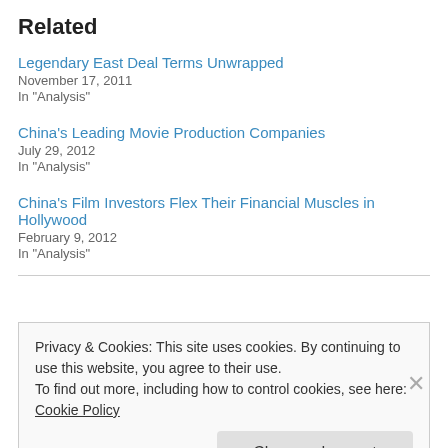Related
Legendary East Deal Terms Unwrapped
November 17, 2011
In "Analysis"
China's Leading Movie Production Companies
July 29, 2012
In "Analysis"
China's Film Investors Flex Their Financial Muscles in Hollywood
February 9, 2012
In "Analysis"
Privacy & Cookies: This site uses cookies. By continuing to use this website, you agree to their use.
To find out more, including how to control cookies, see here: Cookie Policy